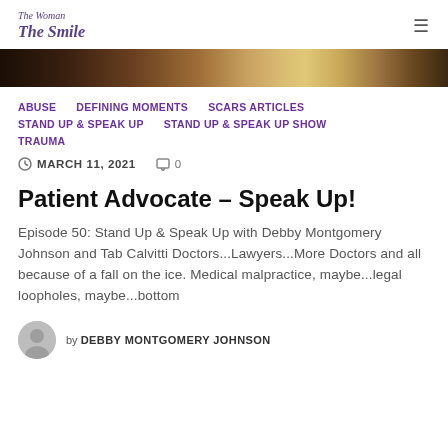The Woman behind The Smile
[Figure (photo): Cropped photo showing fabric/clothing details, appears to be a person in a patterned top]
ABUSE
DEFINING MOMENTS
SCARS ARTICLES
STAND UP & SPEAK UP
STAND UP & SPEAK UP SHOW
TRAUMA
MARCH 11, 2021   0
Patient Advocate – Speak Up!
Episode 50: Stand Up & Speak Up with Debby Montgomery Johnson and Tab Calvitti Doctors...Lawyers...More Doctors and all because of a fall on the ice. Medical malpractice, maybe...legal loopholes, maybe...bottom
by DEBBY MONTGOMERY JOHNSON